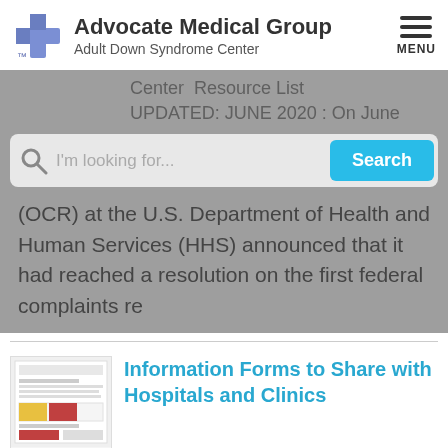[Figure (logo): Advocate Medical Group logo with blue cross icon, Adult Down Syndrome Center header, and hamburger menu icon]
[Figure (screenshot): Search bar overlay on gray background with partially visible text: 'Center Resource List UPDATED: JUNE 2020: On June' and '(OCR) at the U.S. Department of Health and Human Services (HHS) announced that it had reached a resolution on the first federal complaints re']
Information Forms to Share with Hospitals and Clinics